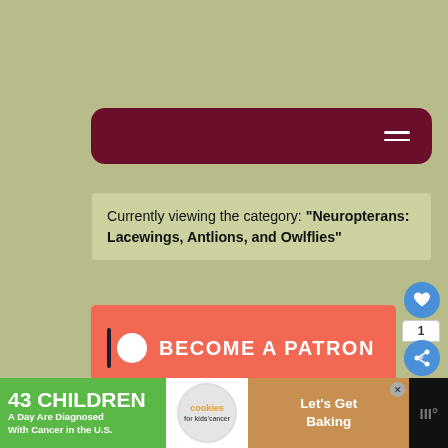[Figure (screenshot): Dark red/maroon rounded navigation bar with hamburger menu icon on right]
Currently viewing the category: "Neuropterans: Lacewings, Antlions, and Owlflies"
[Figure (infographic): Patreon banner with salmon/coral background reading BECOME A PATRON with Patreon logo]
[Figure (infographic): Advertisement banner: 43 CHILDREN A Day Are Diagnosed With Cancer in the U.S. — cookies for kids cancer — Let's Get Baking]